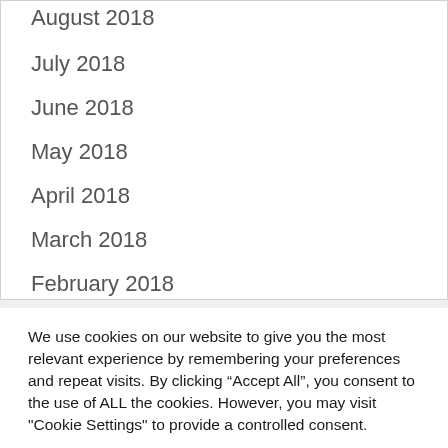August 2018
July 2018
June 2018
May 2018
April 2018
March 2018
February 2018
January 2018
December 2017
November 2017
We use cookies on our website to give you the most relevant experience by remembering your preferences and repeat visits. By clicking “Accept All”, you consent to the use of ALL the cookies. However, you may visit "Cookie Settings" to provide a controlled consent.
Cookie Settings | Accept All